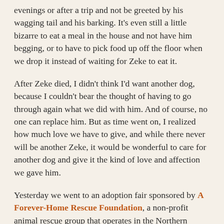evenings or after a trip and not be greeted by his wagging tail and his barking. It's even still a little bizarre to eat a meal in the house and not have him begging, or to have to pick food up off the floor when we drop it instead of waiting for Zeke to eat it.
After Zeke died, I didn't think I'd want another dog, because I couldn't bear the thought of having to go through again what we did with him. And of course, no one can replace him. But as time went on, I realized how much love we have to give, and while there never will be another Zeke, it would be wonderful to care for another dog and give it the kind of love and affection we gave him.
Yesterday we went to an adoption fair sponsored by A Forever-Home Rescue Foundation, a non-profit animal rescue group that operates in the Northern Virginia/Washington area which strives to make quality dogs available for adoption. We looked around a bit and came upon a litter of puppies. We picked one up and petted her for a bit. Then we picked up another. She immediately started licking my face and nestling in my arms, while other puppies were struggling. I felt a certain connection I hadn't felt since October 1994 at the Animal Welfare League of Alexandria.
So… we put in an adoption application for a 10-week-old…